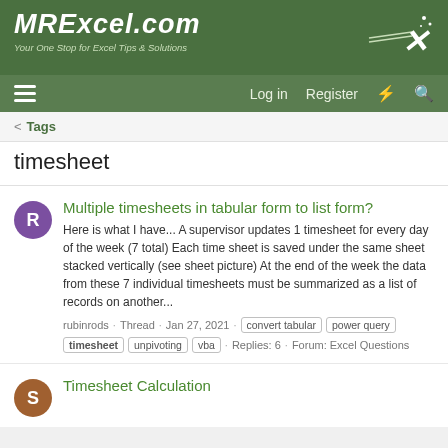MrExcel.com — Your One Stop for Excel Tips & Solutions
timesheet
Multiple timesheets in tabular form to list form?
Here is what I have... A supervisor updates 1 timesheet for every day of the week (7 total) Each time sheet is saved under the same sheet stacked vertically (see sheet picture) At the end of the week the data from these 7 individual timesheets must be summarized as a list of records on another...
rubinrods · Thread · Jan 27, 2021 · convert tabular · power query · timesheet · unpivoting · vba · Replies: 6 · Forum: Excel Questions
Timesheet Calculation